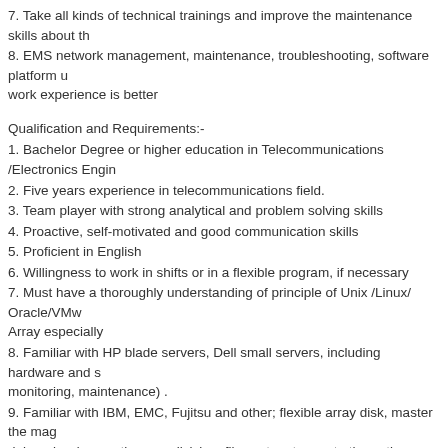7. Take all kinds of technical trainings and improve the maintenance skills about th
8. EMS network management, maintenance, troubleshooting, software platform u work experience is better
Qualification and Requirements:-
1. Bachelor Degree or higher education in Telecommunications /Electronics Engin
2. Five years experience in telecommunications field.
3. Team player with strong analytical and problem solving skills
4. Proactive, self-motivated and good communication skills
5. Proficient in English
6. Willingness to work in shifts or in a flexible program, if necessary
7. Must have a thoroughly understanding of principle of Unix /Linux/ Oracle/VMw Array especially
8. Familiar with HP blade servers, Dell small servers, including hardware and s monitoring, maintenance) .
9. Familiar with IBM, EMC, Fujitsu and other; flexible array disk, master the mag debugging (magnetic array division, file system to create the entire process)
10. Familiar with TCP / IP transport network, have several kinds of skill: network k switch and fiber switch.
11. Familiar with Unix / Linux operating system installation and system basic opera
12. Familiar with oracle database and Sybase databases commonly used op